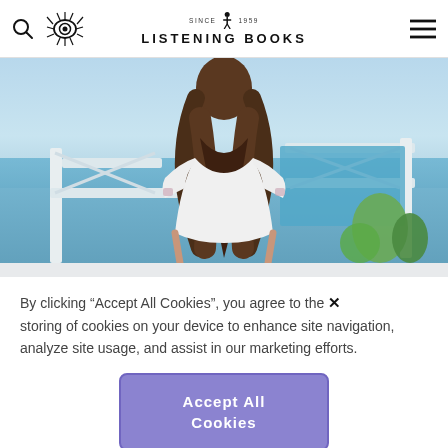Listening Books — since 1959
[Figure (photo): Photo of a woman in a white dress viewed from behind, standing on a balcony with white railings and blue sea/sky beyond, with green plants at right]
By clicking "Accept All Cookies", you agree to the storing of cookies on your device to enhance site navigation, analyze site usage, and assist in our marketing efforts.
Accept All Cookies
Cookies Settings